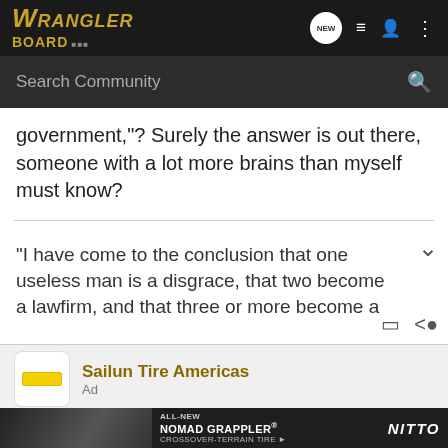WRANGLER BOARD
Search Community
government,"? Surely the answer is out there, someone with a lot more brains than myself must know?
"I have come to the conclusion that one useless man is a disgrace, that two become a lawfirm, and that three or more become a
[Figure (screenshot): Ad for Sailun Tire Americas with logo]
Sailun Tire Americas
Ad
Why The Blackhawk HA11 Is The All-Terrain Tire For You
An impr... oad
[Figure (photo): Nitto ALL-NEW NOMAD GRAPPLER CROSSOVER-TERRAIN TIRE advertisement overlay with tire imagery]